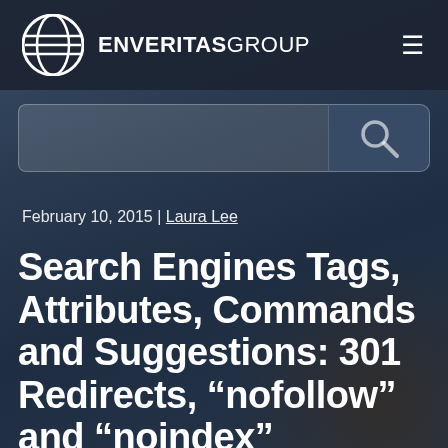ENVERITASGROUP
[Figure (screenshot): Search bar with search button containing a magnifying glass icon, overlaid on a blurred dark background photo of a hand]
February 10, 2015 | Laura Lee
Search Engines Tags, Attributes, Commands and Suggestions: 301 Redirects, “nofollow” and “noindex”